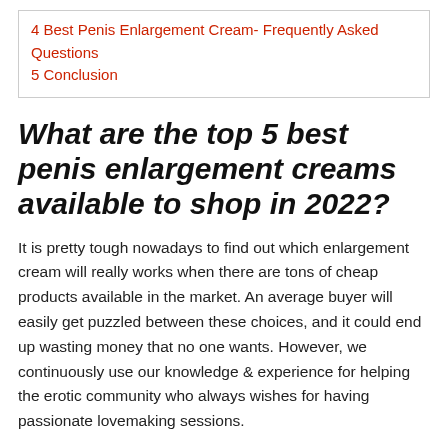4 Best Penis Enlargement Cream- Frequently Asked Questions
5 Conclusion
What are the top 5 best penis enlargement creams available to shop in 2022?
It is pretty tough nowadays to find out which enlargement cream will really works when there are tons of cheap products available in the market. An average buyer will easily get puzzled between these choices, and it could end up wasting money that no one wants. However, we continuously use our knowledge & experience for helping the erotic community who always wishes for having passionate lovemaking sessions.